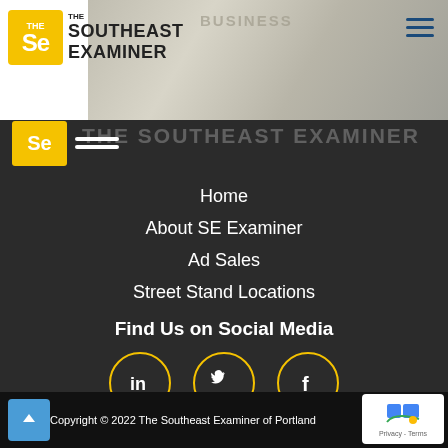[Figure (screenshot): The Southeast Examiner newspaper logo with yellow SE icon and hamburger menu, over a newspaper photo background]
Home
About SE Examiner
Ad Sales
Street Stand Locations
Find Us on Social Media
[Figure (illustration): Three social media icons in yellow circles: LinkedIn, Twitter, Facebook]
Copyright © 2022 The Southeast Examiner of Portland